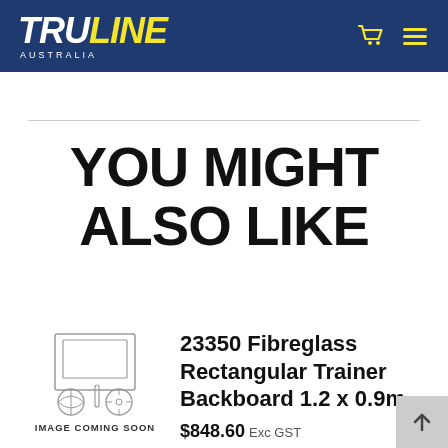TRULINE AUSTRALIA
YOU MIGHT ALSO LIKE
[Figure (illustration): Sports equipment placeholder image with text IMAGE COMING SOON. Shows outlines of various sports balls and equipment inside a frame.]
23350 Fibreglass Rectangular Trainer Backboard 1.2 x 0.9m
$848.60 Exc GST